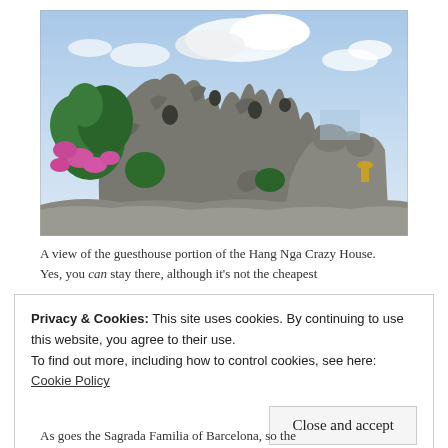[Figure (photo): Photograph of the Hang Nga Crazy House guesthouse, showing surreal organic architecture made of sculpted concrete resembling trees and rocks, with pink flowers and green vegetation visible, under a partly cloudy sky.]
A view of the guesthouse portion of the Hang Nga Crazy House. Yes, you can stay there, although it's not the cheapest accommodation in Da Lat...
Privacy & Cookies: This site uses cookies. By continuing to use this website, you agree to their use.
To find out more, including how to control cookies, see here: Cookie Policy
Close and accept
As goes the Sagrada Familia of Barcelona, so the...